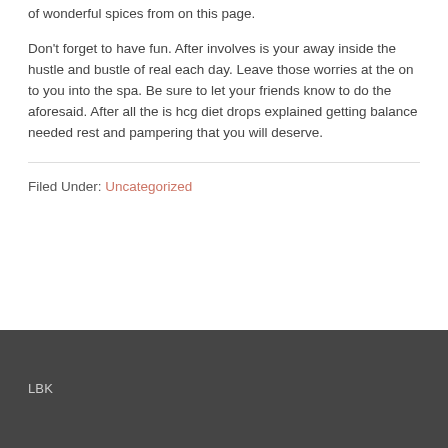of wonderful spices from on this page.
Don't forget to have fun. After involves is your away inside the hustle and bustle of real each day. Leave those worries at the on to you into the spa. Be sure to let your friends know to do the aforesaid. After all the is hcg diet drops explained getting balance needed rest and pampering that you will deserve.
Filed Under: Uncategorized
LBK